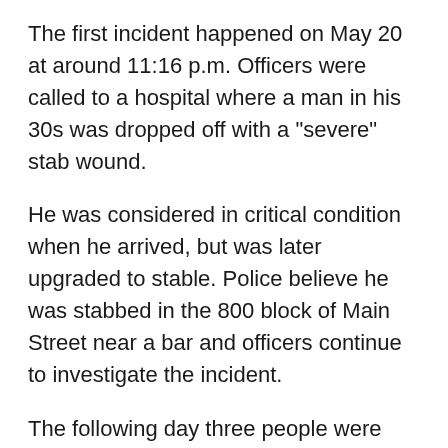The first incident happened on May 20 at around 11:16 p.m. Officers were called to a hospital where a man in his 30s was dropped off with a "severe" stab wound.
He was considered in critical condition when he arrived, but was later upgraded to stable. Police believe he was stabbed in the 800 block of Main Street near a bar and officers continue to investigate the incident.
The following day three people were arrested after two women were stabbed outside a bar according to police. It happened in the area of Main Street and Jarvis Avenue, and the two women – one in her 30s and the other in her 40s – were taken to hospital in unstable condition. It later was determined that he...